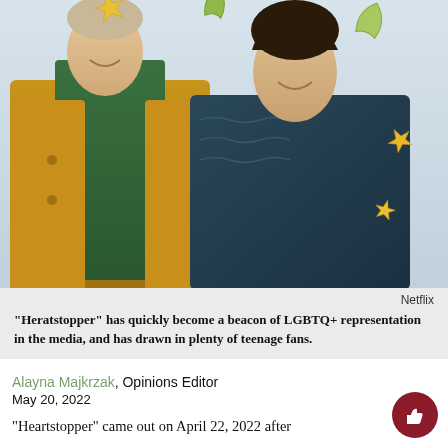[Figure (photo): Two teenage boys smiling outdoors. The boy on the left wears a mustard yellow jacket over a green hoodie. The boy on the right wears a dark teal cable-knit sweater. Background is an overcast sky with colorful illustrated leaf decorations scattered around.]
Netflix
“Heratstopper” has quickly become a beacon of LGBTQ+ representation in the media, and has drawn in plenty of teenage fans.
Alayna Majkrzak, Opinions Editor
May 20, 2022
“Heartstopper” came out on April 22, 2022 after